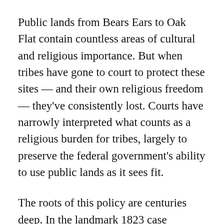Public lands from Bears Ears to Oak Flat contain countless areas of cultural and religious importance. But when tribes have gone to court to protect these sites — and their own religious freedom — they've consistently lost. Courts have narrowly interpreted what counts as a religious burden for tribes, largely to preserve the federal government's ability to use public lands as it sees fit.
The roots of this policy are centuries deep. In the landmark 1823 case Johnson v. M'Intosh, the Supreme Court ruled that Indigenous people could not sell land to private owners in the United States, because they did not own it. Instead,